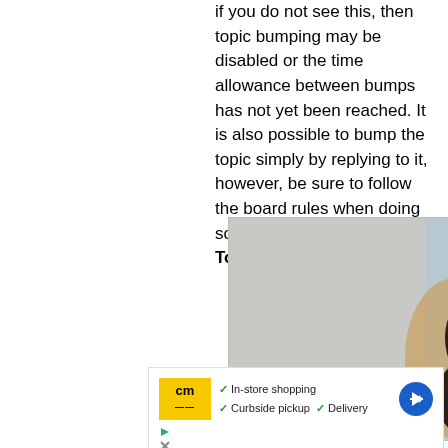if you do not see this, then topic bumping may be disabled or the time allowance between bumps has not yet been reached. It is also possible to bump the topic simply by replying to it, however, be sure to follow the board rules when doing so.
Top
[Figure (photo): Advertisement showing a close-up photo of a black and white border collie dog with striking blue/green eyes looking at camera, with play and close buttons in top right corner.]
[Figure (infographic): Advertisement banner for 'cm' store showing yellow CM logo, checkmarks for In-store shopping, Curbside pickup, and Delivery, with a blue navigation/directions icon on the right. Below the banner are play and close (X) ad controls.]